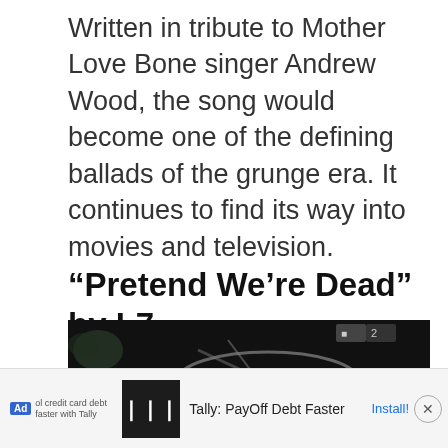Written in tribute to Mother Love Bone singer Andrew Wood, the song would become one of the defining ballads of the grunge era. It continues to find its way into movies and television.
“Pretend We’re Dead” by L7
[Figure (photo): A dark, mostly black and white image showing what appears to be a guitar or musical instrument with a YouTube play button overlay visible at the bottom center.]
Ad  ol credit card debt faster with Tally  '||'  Tally: PayOff Debt Faster  Install!